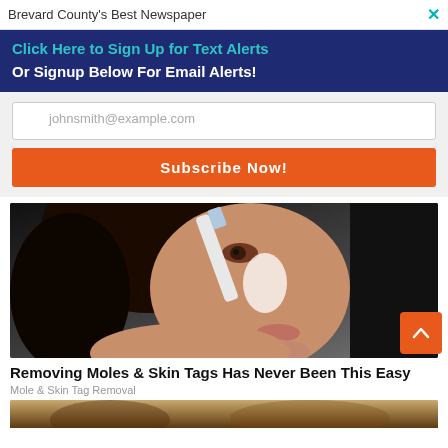Brevard County's Best Newspaper
Click Here to Sign Up for Text Alerts
Or Signup Below For Email Alerts!
johnsmith@example.com
Subscribe Now!
[Figure (photo): Woman applying something white to her nose with a brush, close-up face shot.]
Removing Moles & Skin Tags Has Never Been This Easy
Mole & Skin Tag Removal
[Figure (photo): Partial view of a second advertisement image at the bottom of the page.]